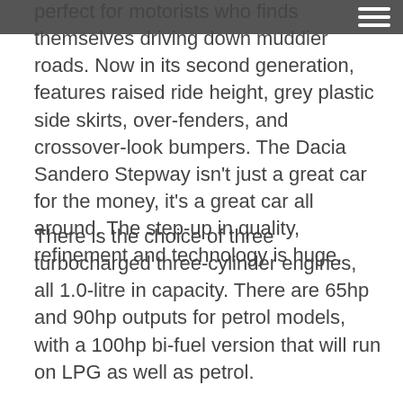perfect for motorists who finds themselves driving down muddier roads. Now in its second generation, features raised ride height, grey plastic side skirts, over-fenders, and crossover-look bumpers. The Dacia Sandero Stepway isn't just a great car for the money, it's a great car all around. The step-up in quality, refinement and technology is huge.
There is the choice of three turbocharged three-cylinder engines, all 1.0-litre in capacity. There are 65hp and 90hp outputs for petrol models, with a 100hp bi-fuel version that will run on LPG as well as petrol.
Performance and drive
Light steering makes it good to drive around town and park, plus visibility out of the front is good so you'll be able to squeeze into tight spots easily. The soft-set suspension makes light work of road bumps. It really